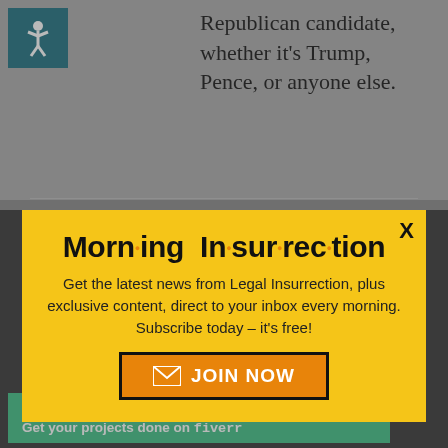Republican candidate, whether it's Trump, Pence, or anyone else.
[Figure (screenshot): Morning Insurrection newsletter popup overlay on a webpage. Yellow background popup with bold title 'Morn·ing In·sur·rec·tion', body text about subscribing, and an orange JOIN NOW button. Below the popup are partially visible webpage elements including a back-to-top button and a green Fiverr advertisement banner.]
argumen  ight have been to
Working from home?
Get your projects done on fiverr